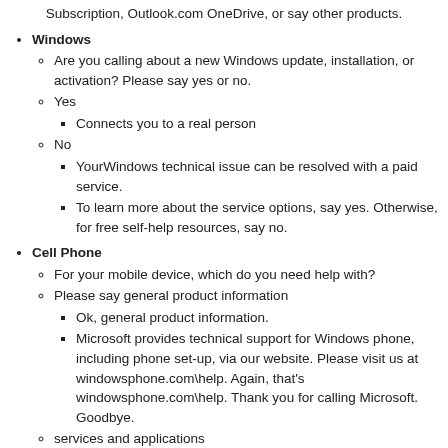Subscription, Outlook.com OneDrive, or say other products.
Windows
Are you calling about a new Windows update, installation, or activation? Please say yes or no.
Yes
Connects you to a real person
No
YourWindows technical issue can be resolved with a paid service.
To learn more about the service options, say yes. Otherwise, for free self-help resources, say no.
Cell Phone
For your mobile device, which do you need help with?
Please say general product information
Ok, general product information.
Microsoft provides technical support for Windows phone, including phone set-up, via our website. Please visit us at windowsphone.com\help. Again, that's windowsphone.com\help. Thank you for calling Microsoft. Goodbye.
services and applications
Ok, services and applications.
Microsoft provides technical support for Windows